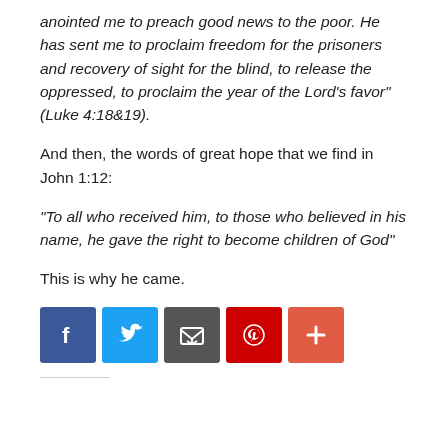anointed me to preach good news to the poor. He has sent me to proclaim freedom for the prisoners and recovery of sight for the blind, to release the oppressed, to proclaim the year of the Lord’s favor” (Luke 4:18&19).
And then, the words of great hope that we find in John 1:12:
“To all who received him, to those who believed in his name, he gave the right to become children of God”
This is why he came.
[Figure (infographic): Row of five social media sharing buttons: Facebook (blue), Twitter (light blue), Email/envelope (dark gray), Pinterest (red), and a plus/more button (orange-red).]